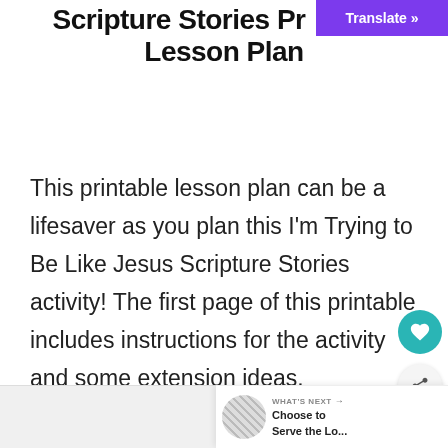Scripture Stories Printable Lesson Plan
[Figure (other): Purple Translate button in top right corner]
This printable lesson plan can be a lifesaver as you plan this I'm Trying to Be Like Jesus Scripture Stories activity! The first page of this printable includes instructions for the activity and some extension ideas.
[Figure (other): Teal circular heart/favorite button on right side]
[Figure (other): Share button (gray circle with share icon) on right side]
[Figure (other): What's Next panel at bottom right with thumbnail and text: Choose to Serve the Lo...]